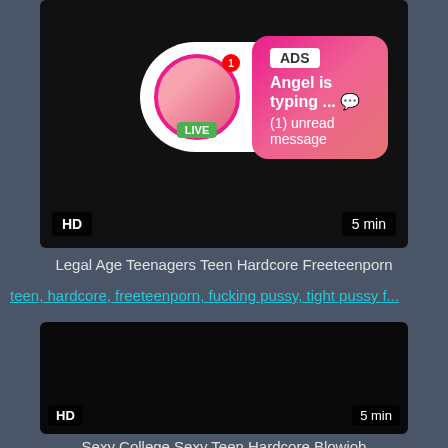[Figure (screenshot): Video thumbnail (dark/black) with advertisement overlay showing a circular avatar with LIVE badge, and a pink gradient message bubble saying 'ADS / Angel is typing ... 💬 / (1) unread message'. HD badge bottom-left, '5 min' bottom-right.]
Legal Age Teenagers Teen Hardcore Freeteenporn
teen, hardcore, freeteenporn, fucking pussy, tight pussy f...
[Figure (screenshot): Dark/black video thumbnail with HD badge bottom-left and '5 min' bottom-right.]
Sexy College Sexy Teen Hardcore Blowjob